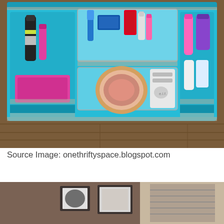[Figure (photo): A turquoise fabric travel organizer laid flat on a wooden floor, containing toiletry items including toothbrush, dental floss, eye drops, lip balm, nail polish, blush compact, and other personal care products in clear plastic pockets.]
Source Image: onethriftyspace.blogspot.com
[Figure (photo): Partial view of a room interior showing walls, framed pictures, and window blinds.]